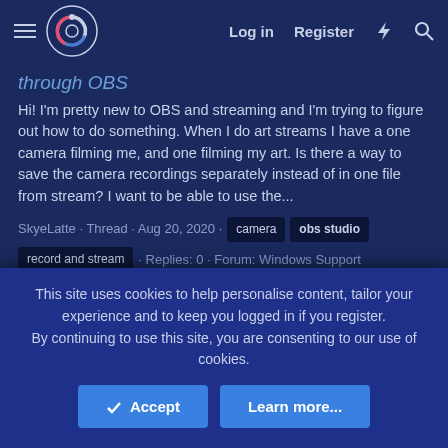OBS Forum navigation bar with Log in, Register, and icons
through OBS
Hi! I'm pretty new to OBS and streaming and I'm trying to figure out how to do something. When I do art streams I have a one camera filming me, and one filming my art. Is there a way to save the camera recordings separately instead of in one file from stream? I want to be able to use the...
SkyeLatte · Thread · Aug 20, 2020 · camera obs studio record and stream · Replies: 0 · Forum: Windows Support
lag preview window
This site uses cookies to help personalise content, tailor your experience and to keep you logged in if you register.
By continuing to use this site, you are consenting to our use of cookies.